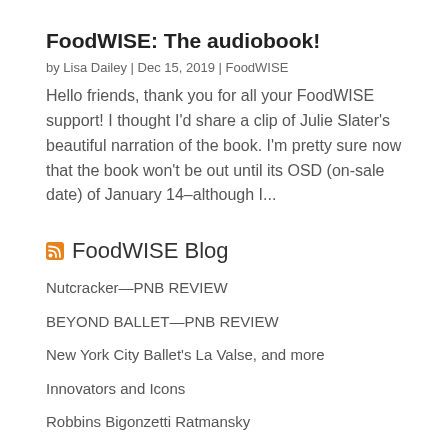FoodWISE: The audiobook!
by Lisa Dailey | Dec 15, 2019 | FoodWISE
Hello friends, thank you for all your FoodWISE support! I thought I'd share a clip of Julie Slater's beautiful narration of the book. I'm pretty sure now that the book won't be out until its OSD (on-sale date) of January 14–although I...
FoodWISE Blog
Nutcracker—PNB REVIEW
BEYOND BALLET—PNB REVIEW
New York City Ballet's La Valse, and more
Innovators and Icons
Robbins Bigonzetti Ratmansky
New York City Ballet stuns with fall program